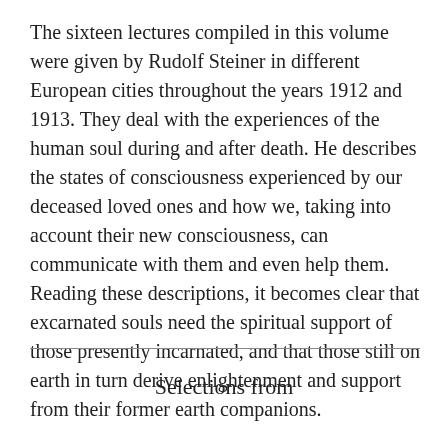The sixteen lectures compiled in this volume were given by Rudolf Steiner in different European cities throughout the years 1912 and 1913. They deal with the experiences of the human soul during and after death. He describes the states of consciousness experienced by our deceased loved ones and how we, taking into account their new consciousness, can communicate with them and even help them. Reading these descriptions, it becomes clear that excarnated souls need the spiritual support of those presently incarnated, and that those still on earth in turn derive enlightenment and support from their former earth companions.
Selections from